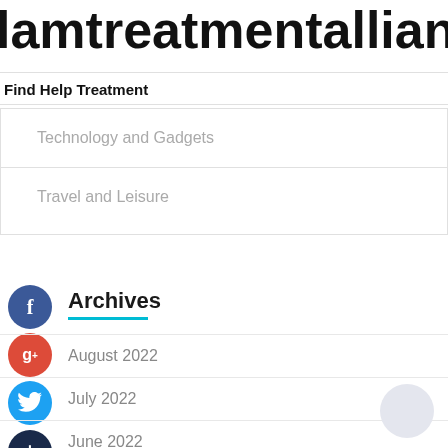lamtreatmentalliance
Find Help Treatment
Technology and Gadgets
Travel and Leisure
Archives
August 2022
July 2022
June 2022